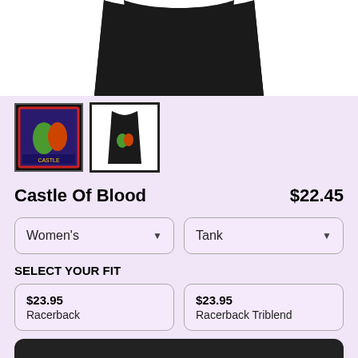[Figure (photo): Black sleeveless tank top on white background, cropped view showing the lower portion of the shirt]
[Figure (photo): Two product thumbnails: first showing colorful Castle of Blood artwork on black background, second showing a black racerback tank top with the graphic]
Castle Of Blood
$22.45
Women's
Tank
SELECT YOUR FIT
$23.95
Racerback
$23.95
Racerback Triblend